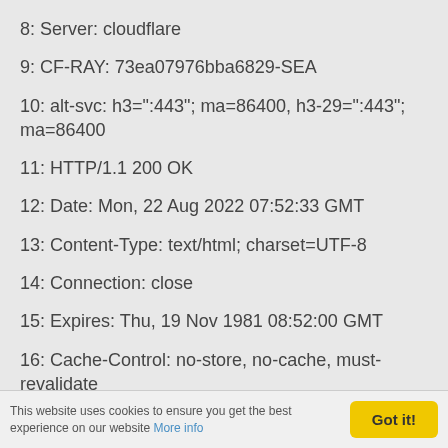8: Server: cloudflare
9: CF-RAY: 73ea07976bba6829-SEA
10: alt-svc: h3=":443"; ma=86400, h3-29=":443"; ma=86400
11: HTTP/1.1 200 OK
12: Date: Mon, 22 Aug 2022 07:52:33 GMT
13: Content-Type: text/html; charset=UTF-8
14: Connection: close
15: Expires: Thu, 19 Nov 1981 08:52:00 GMT
16: Cache-Control: no-store, no-cache, must-revalidate
17: Pragma: no-cache
This website uses cookies to ensure you get the best experience on our website More info